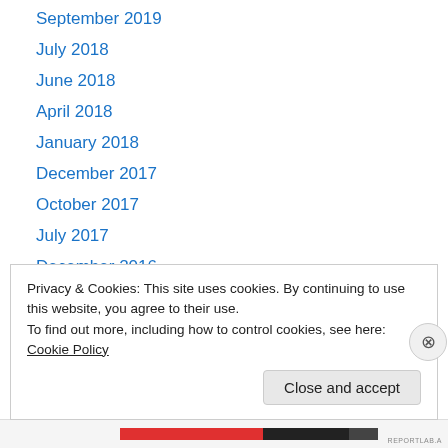September 2019
July 2018
June 2018
April 2018
January 2018
December 2017
October 2017
July 2017
December 2016
October 2016
June 2016
May 2016
April 2016
Privacy & Cookies: This site uses cookies. By continuing to use this website, you agree to their use. To find out more, including how to control cookies, see here: Cookie Policy
Close and accept